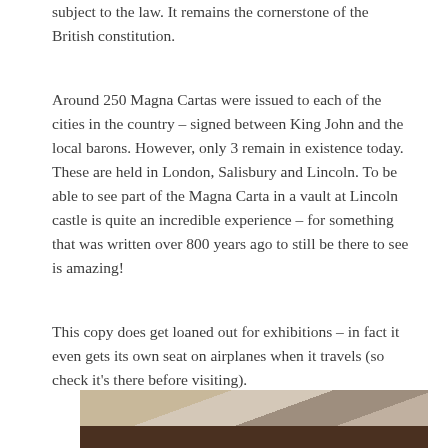subject to the law. It remains the cornerstone of the British constitution.
Around 250 Magna Cartas were issued to each of the cities in the country – signed between King John and the local barons. However, only 3 remain in existence today. These are held in London, Salisbury and Lincoln. To be able to see part of the Magna Carta in a vault at Lincoln castle is quite an incredible experience – for something that was written over 800 years ago to still be there to see is amazing!
This copy does get loaned out for exhibitions – in fact it even gets its own seat on airplanes when it travels (so check it's there before visiting).
[Figure (photo): Partial photograph of what appears to be an interior display case or architectural element, showing tan/beige walls and a dark brown base or floor element.]